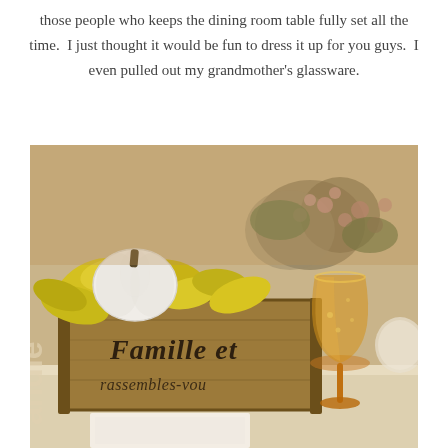those people who keeps the dining room table fully set all the time.  I just thought it would be fun to dress it up for you guys.  I even pulled out my grandmother's glassware.
[Figure (photo): Autumn table centerpiece in a rustic wooden crate labeled 'Famille et rassembles-vou', filled with a white pumpkin, yellow fall leaves, and dried flowers/greenery. An amber vintage wine glass sits beside the crate on a light wooden table surface. Watermark text 'andie' visible in lower left corner.]